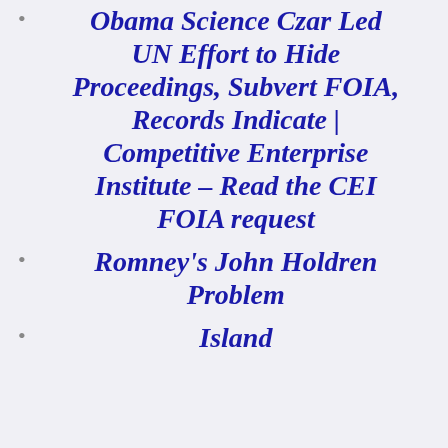Obama Science Czar Led UN Effort to Hide Proceedings, Subvert FOIA, Records Indicate | Competitive Enterprise Institute – Read the CEI FOIA request
Romney's John Holdren Problem
Island